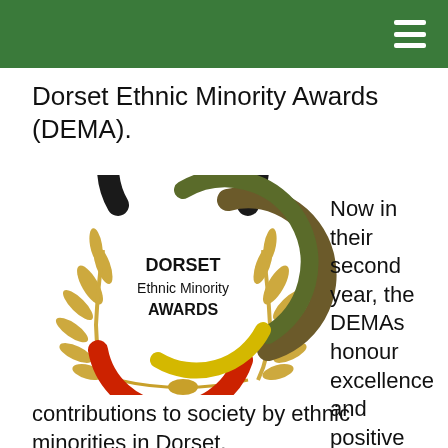Dorset Ethnic Minority Awards (DEMA).
[Figure (logo): Dorset Ethnic Minority Awards (DEMA) logo: circular design with overlapping rings in black, brown/olive, red, and yellow, surrounded by golden laurel wreaths. Text reads DORSET Ethnic Minority AWARDS in the center.]
Now in their second year, the DEMAs honour excellence and positive
contributions to society by ethnic minorities in Dorset.
More than 400 guests are due to attend the black-tie gala dinner and awards ceremony at